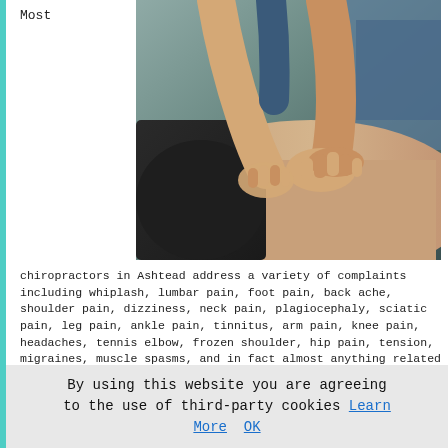Most
[Figure (photo): Close-up photo of a chiropractor's hands pressing down on a patient's lower back during a chiropractic treatment session.]
chiropractors in Ashtead address a variety of complaints including whiplash, lumbar pain, foot pain, back ache, shoulder pain, dizziness, neck pain, plagiocephaly, sciatic pain, leg pain, ankle pain, tinnitus, arm pain, knee pain, headaches, tennis elbow, frozen shoulder, hip pain, tension, migraines, muscle spasms, and in fact almost anything related to the joints, muscles and bones, whilst a few Ashtead chiropractors concentrate on more targeted areas of the field such as sporting injuries or lower back pain.
By using this website you are agreeing to the use of third-party cookies Learn More  OK